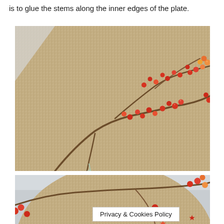is to glue the stems along the inner edges of the plate.
[Figure (photo): Close-up photo of a burlap-covered round plate with red and orange berry stems arranged along the inner edge, with visible hot glue holding the stems down.]
[Figure (photo): Partial view of a burlap-covered round plate from above showing red, orange, and yellow berry stems along the edge, on a light marble surface.]
Privacy & Cookies Policy